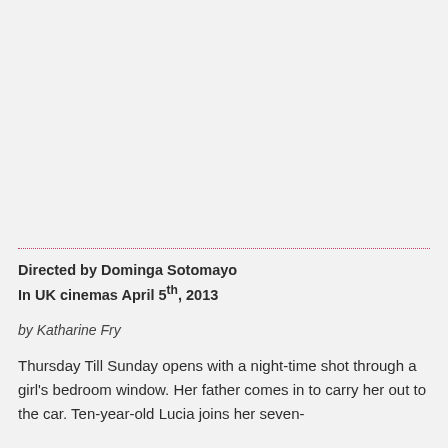Directed by Dominga Sotomayo
In UK cinemas April 5th, 2013
by Katharine Fry
Thursday Till Sunday opens with a night-time shot through a girl's bedroom window. Her father comes in to carry her out to the car. Ten-year-old Lucia joins her seven-